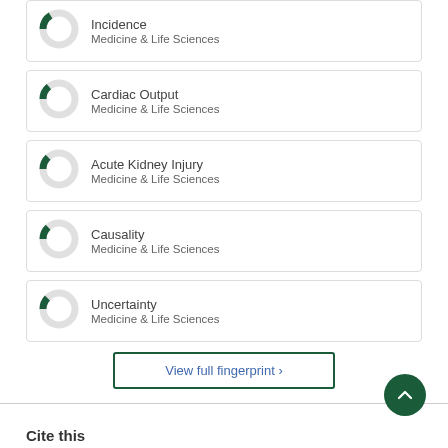[Figure (donut-chart): Partial donut chart for Incidence, Medicine & Life Sciences]
[Figure (donut-chart): Partial donut chart for Cardiac Output, Medicine & Life Sciences]
[Figure (donut-chart): Partial donut chart for Acute Kidney Injury, Medicine & Life Sciences]
[Figure (donut-chart): Partial donut chart for Causality, Medicine & Life Sciences]
[Figure (donut-chart): Partial donut chart for Uncertainty, Medicine & Life Sciences]
View full fingerprint >
Cite this